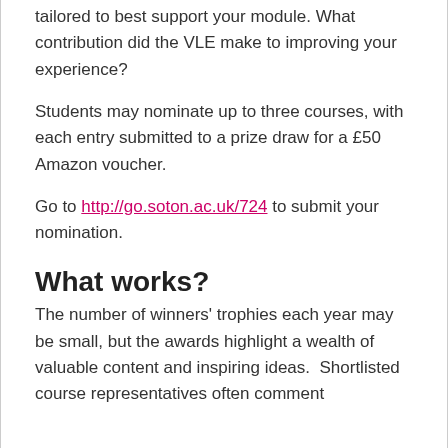tailored to best support your module. What contribution did the VLE make to improving your experience?
Students may nominate up to three courses, with each entry submitted to a prize draw for a £50 Amazon voucher.
Go to http://go.soton.ac.uk/724 to submit your nomination.
What works?
The number of winners' trophies each year may be small, but the awards highlight a wealth of valuable content and inspiring ideas.  Shortlisted course representatives often comment